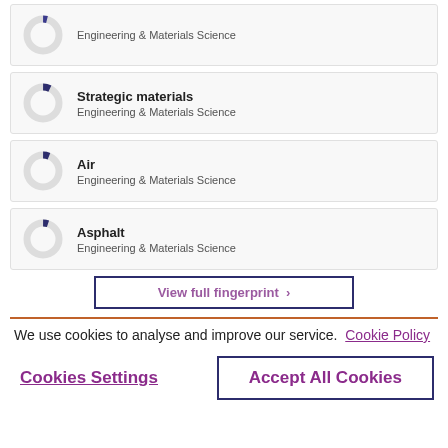Engineering & Materials Science
Strategic materials — Engineering & Materials Science
Air — Engineering & Materials Science
Asphalt — Engineering & Materials Science
View full fingerprint >
We use cookies to analyse and improve our service. Cookie Policy
Cookies Settings
Accept All Cookies